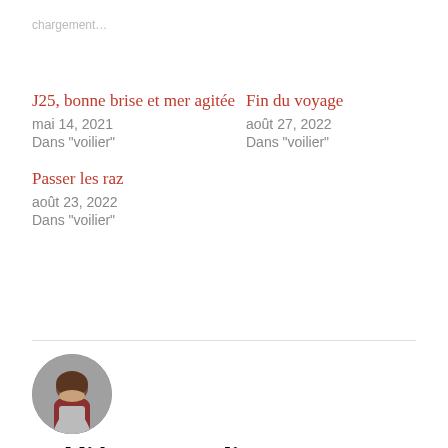chargement…
J25, bonne brise et mer agitée
mai 14, 2021
Dans "voilier"
Fin du voyage
août 27, 2022
Dans "voilier"
Passer les raz
août 23, 2022
Dans "voilier"
[Figure (photo): Circular avatar photo of a woman (Laureline)]
Publié par Laureline